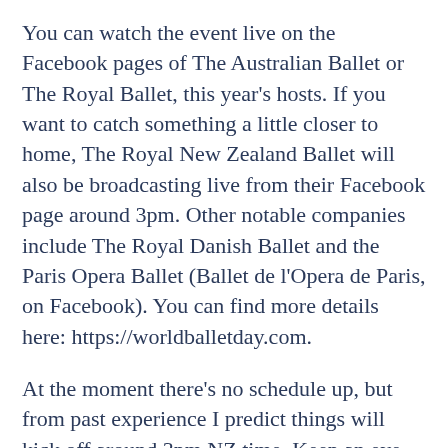You can watch the event live on the Facebook pages of The Australian Ballet or The Royal Ballet, this year's hosts. If you want to catch something a little closer to home, The Royal New Zealand Ballet will also be broadcasting live from their Facebook page around 3pm. Other notable companies include The Royal Danish Ballet and the Paris Opera Ballet (Ballet de l'Opera de Paris, on Facebook). You can find more details here: https://worldballetday.com.
At the moment there's no schedule up, but from past experience I predict things will kick off around 3pm NZ time. Keep an eye on Facebook here...